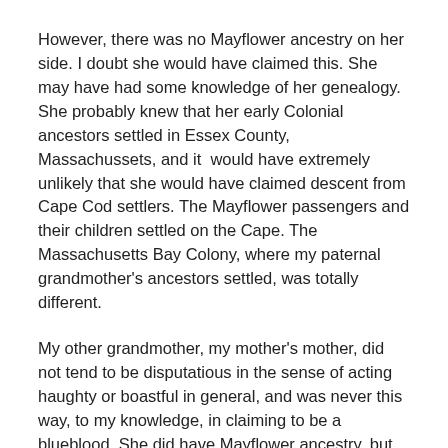However, there was no Mayflower ancestry on her side. I doubt she would have claimed this. She may have had some knowledge of her genealogy. She probably knew that her early Colonial ancestors settled in Essex County, Massachussets, and it  would have extremely unlikely that she would have claimed descent from Cape Cod settlers. The Mayflower passengers and their children settled on the Cape. The Massachusetts Bay Colony, where my paternal grandmother's ancestors settled, was totally different.
My other grandmother, my mother's mother, did not tend to be disputatious in the sense of acting haughty or boastful in general, and was never this way, to my knowledge, in claiming to be a blueblood. She did have Mayflower ancestry, but she may not have even been aware of it. Her great-great grandmother on her father's side was a Mayflower descendant. Her husband, my mother's father, did have several Mayflower ancestors, but while my grandmother may